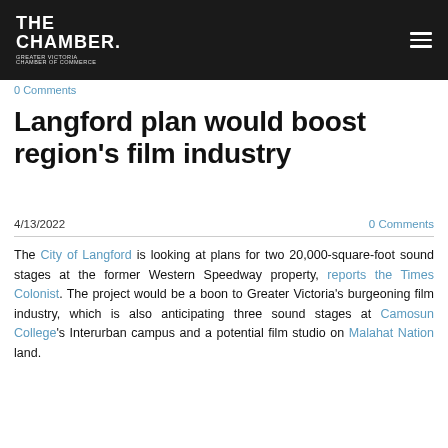THE CHAMBER. GREATER VICTORIA CHAMBER OF COMMERCE
0 Comments
Langford plan would boost region's film industry
4/13/2022
0 Comments
The City of Langford is looking at plans for two 20,000-square-foot sound stages at the former Western Speedway property, reports the Times Colonist. The project would be a boon to Greater Victoria's burgeoning film industry, which is also anticipating three sound stages at Camosun College's Interurban campus and a potential film studio on Malahat Nation land.